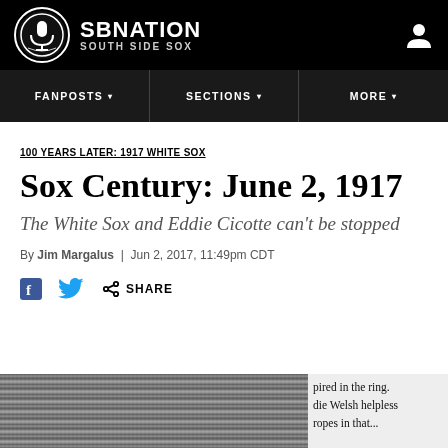SB NATION / SOUTH SIDE SOX
FANPOSTS | SECTIONS | MORE
100 YEARS LATER: 1917 WHITE SOX
Sox Century: June 2, 1917
The White Sox and Eddie Cicotte can't be stopped
By Jim Margalus | Jun 2, 2017, 11:49pm CDT
SHARE
[Figure (photo): Newspaper clipping image at the bottom of the page, partially visible. Right side shows text: 'pired in the ring. die Welsh helpless ropes in that...']